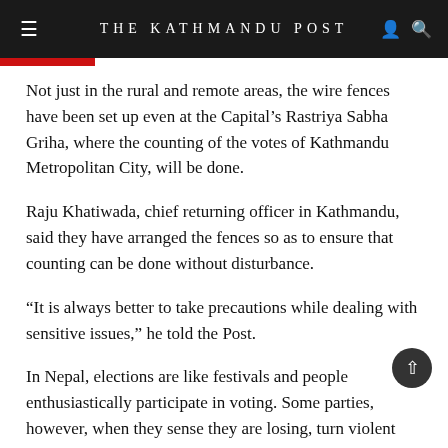THE KATHMANDU POST
Not just in the rural and remote areas, the wire fences have been set up even at the Capital’s Rastriya Sabha Griha, where the counting of the votes of Kathmandu Metropolitan City, will be done.
Raju Khatiwada, chief returning officer in Kathmandu, said they have arranged the fences so as to ensure that counting can be done without disturbance.
“It is always better to take precautions while dealing with sensitive issues,” he told the Post.
In Nepal, elections are like festivals and people enthusiastically participate in voting. Some parties, however, when they sense they are losing, turn violent and resort to snatching away the ballot boxes and tearing up ballot papers, past experiences show.